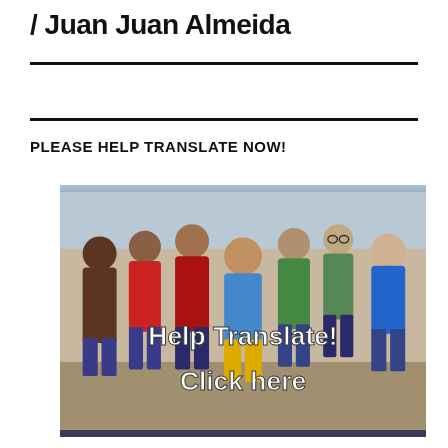/ Juan Juan Almeida
PLEASE HELP TRANSLATE NOW!
[Figure (photo): Group photo of several children smiling together, with overlay text reading 'Help Translate! Click here']